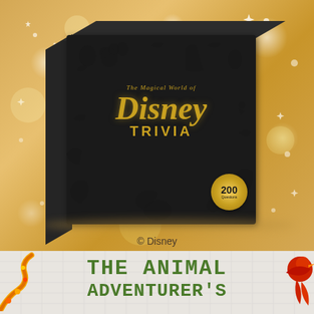[Figure (photo): Photo of 'The Magical World of Disney Trivia' board game box on a golden bokeh background. The black box features Disney character silhouettes and gold text reading 'The Magical World of Disney Trivia' with a gold badge showing '200 Questions'. Below the box reads '© Disney'.]
© Disney
[Figure (photo): Partial view of 'The Animal Adventurer's' book cover with green handwritten-style lettering on a light grid background, with animal decorations (snake on left, red bird on right) visible at edges.]
THE ANIMAL ADVENTURER'S